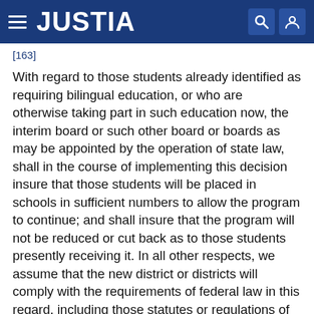JUSTIA
[163]
With regard to those students already identified as requiring bilingual education, or who are otherwise taking part in such education now, the interim board or such other board or boards as may be appointed by the operation of state law, shall in the course of implementing this decision insure that those students will be placed in schools in sufficient numbers to allow the program to continue; and shall insure that the program will not be reduced or cut back as to those students presently receiving it. In all other respects, we assume that the new district or districts will comply with the requirements of federal law in this regard, including those statutes or regulations of HEW which may require the identification of other students needing such assistance and the provision of the programs made